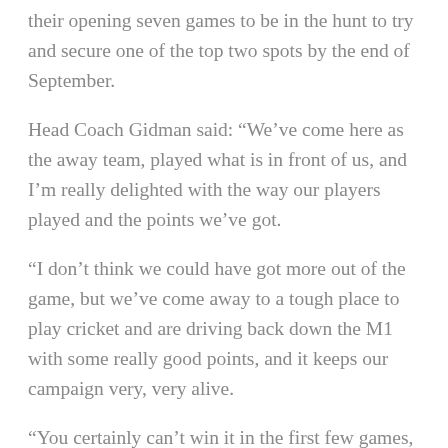their opening seven games to be in the hunt to try and secure one of the top two spots by the end of September.
Head Coach Gidman said: “We’ve come here as the away team, played what is in front of us, and I’m really delighted with the way our players played and the points we’ve got.
“I don’t think we could have got more out of the game, but we’ve come away to a tough place to play cricket and are driving back down the M1 with some really good points, and it keeps our campaign very, very alive.
“You certainly can’t win it in the first few games, but you can certainly make it extremely hard for yourselves to be in it, but we’ve got through the first half, and we’ve only lost one game.
“It sounds a negative thing to say, but you can’t